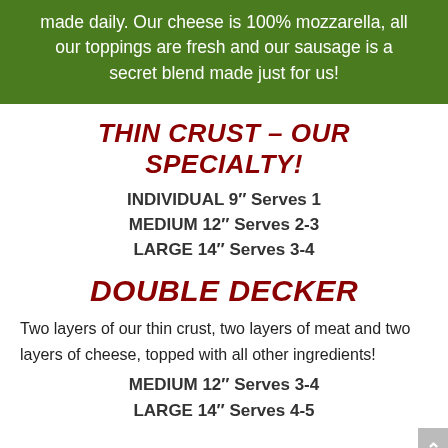made daily. Our cheese is 100% mozzarella, all our toppings are fresh and our sausage is a secret blend made just for us!
THIN CRUST – OUR SPECIALTY!
INDIVIDUAL 9″ Serves 1
MEDIUM 12″ Serves 2-3
LARGE 14″ Serves 3-4
DOUBLE DECKER
Two layers of our thin crust, two layers of meat and two layers of cheese, topped with all other ingredients!
MEDIUM 12″ Serves 3-4
LARGE 14″ Serves 4-5